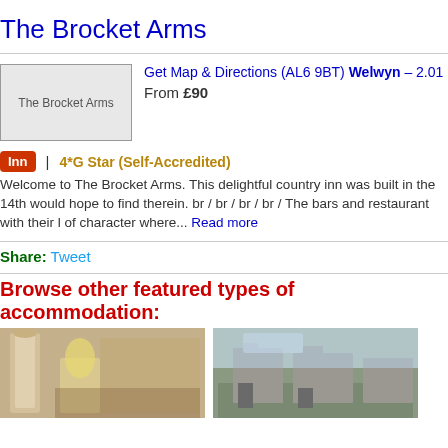The Brocket Arms
Get Map & Directions (AL6 9BT) Welwyn – 2.01
From £90
Inn | 4*G Star (Self-Accredited)
Welcome to The Brocket Arms. This delightful country inn was built in the 14th... would hope to find therein. br / br / br / br / The bars and restaurant with their l... of character where... Read more
Share: Tweet
Browse other featured types of accommodation:
[Figure (photo): Interior photo of an elegant room with ornate column and lamp]
[Figure (photo): Exterior photo of a stone country house building]